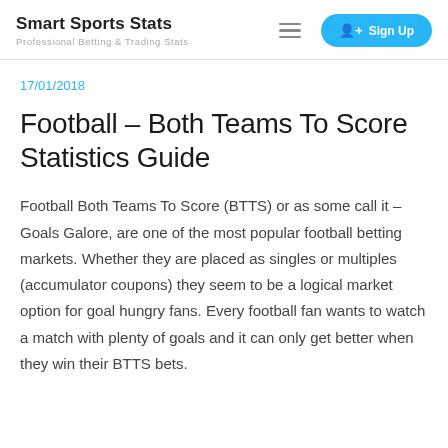Smart Sports Stats — Professional Betting & Trading Stats
17/01/2018
Football – Both Teams To Score Statistics Guide
Football Both Teams To Score (BTTS) or as some call it – Goals Galore, are one of the most popular football betting markets. Whether they are placed as singles or multiples (accumulator coupons) they seem to be a logical market option for goal hungry fans. Every football fan wants to watch a match with plenty of goals and it can only get better when they win their BTTS bets.